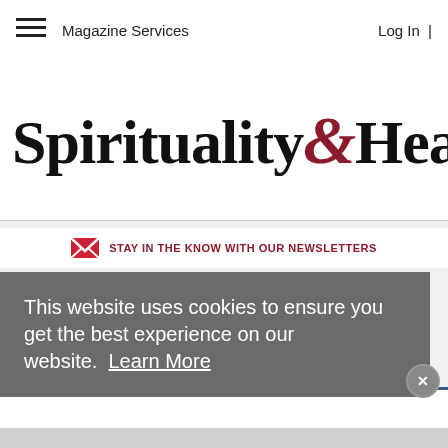Magazine Services   Log In
Spirituality & Health
STAY IN THE KNOW WITH OUR NEWSLETTERS
This website uses cookies to ensure you get the best experience on our website. Learn More